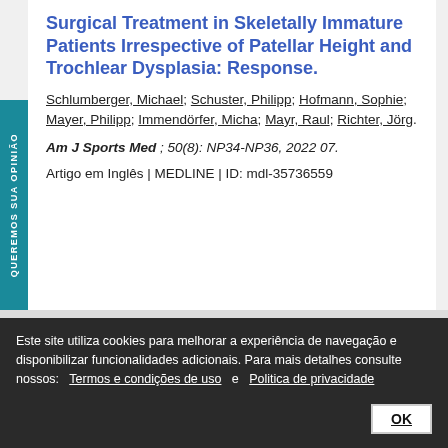Surgical Treatment in Skeletally Immature Patients Irrespective of Patellar Height and Trochlear Dysplasia: Response.
Schlumberger, Michael; Schuster, Philipp; Hofmann, Sophie; Mayer, Philipp; Immendörfer, Micha; Mayr, Raul; Richter, Jörg.
Am J Sports Med ; 50(8): NP34-NP36, 2022 07.
Artigo em Inglês | MEDLINE | ID: mdl-35736559
Este site utiliza cookies para melhorar a experiência de navegação e disponibilizar funcionalidades adicionais. Para mais detalhes consulte nossos: Termos e condições de uso e Politica de privacidade
...endon-Femoral Ligament and Patellar Borders: A Pediatric...